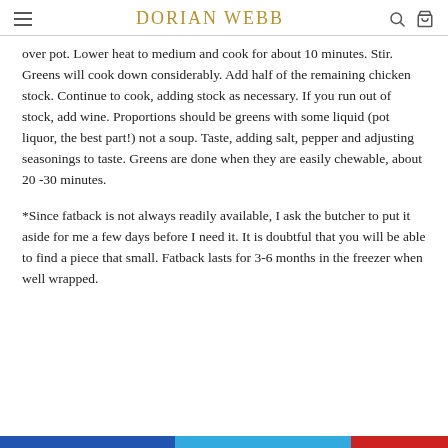Dorian Webb
over pot. Lower heat to medium and cook for about 10 minutes. Stir. Greens will cook down considerably. Add half of the remaining chicken stock. Continue to cook, adding stock as necessary. If you run out of stock, add wine. Proportions should be greens with some liquid (pot liquor, the best part!) not a soup. Taste, adding salt, pepper and adjusting seasonings to taste. Greens are done when they are easily chewable, about 20 -30 minutes.
*Since fatback is not always readily available, I ask the butcher to put it aside for me a few days before I need it. It is doubtful that you will be able to find a piece that small. Fatback lasts for 3-6 months in the freezer when well wrapped.